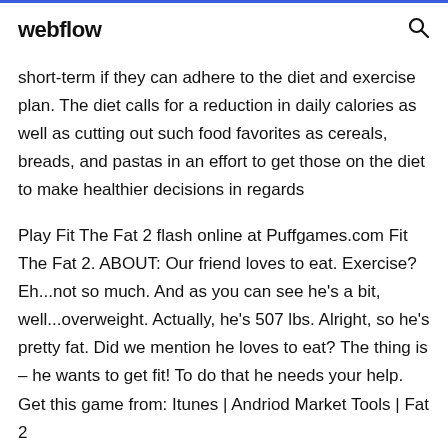webflow
short-term if they can adhere to the diet and exercise plan. The diet calls for a reduction in daily calories as well as cutting out such food favorites as cereals, breads, and pastas in an effort to get those on the diet to make healthier decisions in regards
Play Fit The Fat 2 flash online at Puffgames.com Fit The Fat 2. ABOUT: Our friend loves to eat. Exercise? Eh...not so much. And as you can see he's a bit, well...overweight. Actually, he's 507 lbs. Alright, so he's pretty fat. Did we mention he loves to eat? The thing is – he wants to get fit! To do that he needs your help. Get this game from: Itunes | Andriod Market Tools | Fat 2